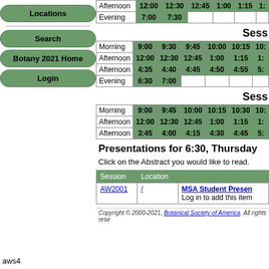Locations
Search
Botany 2021 Home
Login
|  | 12:00 | 12:30 | 12:45 | 1:00 | 1:15 | 1: |
| --- | --- | --- | --- | --- | --- | --- |
| Afternoon | 12:00 | 12:30 | 12:45 | 1:00 | 1:15 | 1: |
| Evening | 7:00 | 7:30 |  |  |  |  |
Sess
|  | 9:00 | 9:30 | 9:45 | 10:00 | 10:15 | 10: |
| --- | --- | --- | --- | --- | --- | --- |
| Morning | 9:00 | 9:30 | 9:45 | 10:00 | 10:15 | 10: |
| Afternoon | 12:00 | 12:30 | 12:45 | 1:00 | 1:15 | 1: |
| Afternoon | 4:35 | 4:40 | 4:45 | 4:50 | 4:55 | 5: |
| Evening | 6:30 | 7:00 |  |  |  |  |
Sess
|  | 9:00 | 9:45 | 10:00 | 10:15 | 10:30 | 10: |
| --- | --- | --- | --- | --- | --- | --- |
| Morning | 9:00 | 9:45 | 10:00 | 10:15 | 10:30 | 10: |
| Afternoon | 12:00 | 12:30 | 12:45 | 1:00 | 1:15 | 1: |
| Afternoon | 3:45 | 4:00 | 4:15 | 4:30 | 4:45 | 5: |
Presentations for 6:30, Thursday
Click on the Abstract you would like to read.
| Session | Location |  |
| --- | --- | --- |
| AW2001 | / | MSA Student Presen... Log in to add this item |
Copyright © 2000-2021, Botanical Society of America. All rights rese...
aws4